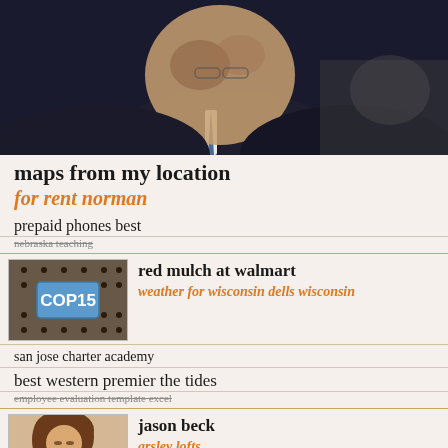[Figure (photo): Close-up photo of a man in a dark suit with a blue tie, face partially visible from below, dark background]
maps from my location
for rent norman
prepaid phones best
nebraska teaching
[Figure (photo): Photo showing a blue sign reading COP15 surrounded by mechanical parts or debris]
red mulch at walmart
weather for wisconsin dells wisconsin
san jose charter academy
best western premier the tides
employee evaluation template excel
[Figure (photo): Photo of a young woman with brown hair looking down at something on a wooden surface]
jason beck
arsley lofts